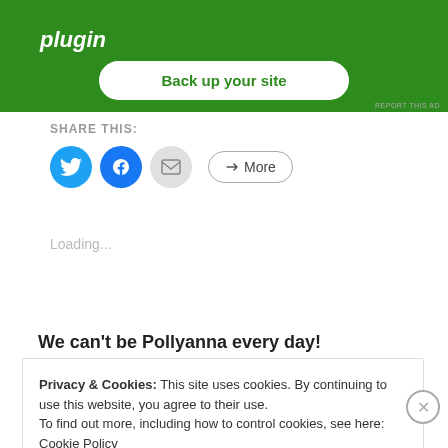[Figure (screenshot): Green banner (partially cropped at top) with bold italic white text 'plugin' and a 'Back up your site' button with white rounded rectangle, green text.]
REPORT THIS AD
SHARE THIS:
[Figure (infographic): Social share icons: Twitter (blue circle), Facebook (blue circle), Email (gray circle), and a 'More' button with rounded border.]
Loading...
We can't be Pollyanna every day!
Privacy & Cookies: This site uses cookies. By continuing to use this website, you agree to their use.
To find out more, including how to control cookies, see here: Cookie Policy
Close and accept